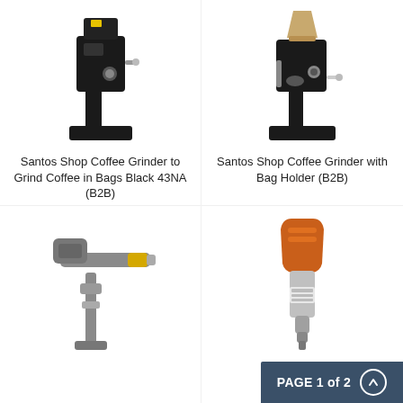[Figure (photo): Santos Shop Coffee Grinder to Grind Coffee in Bags Black 43NA (B2B) - black upright coffee grinder machine]
Santos Shop Coffee Grinder to Grind Coffee in Bags Black 43NA (B2B)
[Figure (photo): Santos Shop Coffee Grinder with Bag Holder (B2B) - black upright coffee grinder with bag holder attachment and burlap hopper]
Santos Shop Coffee Grinder with Bag Holder (B2B)
[Figure (photo): Industrial mixer or agitator on a stand with yellow and grey components]
[Figure (photo): Orange and silver handheld immersion blender or vacuum device]
PAGE 1 of 2